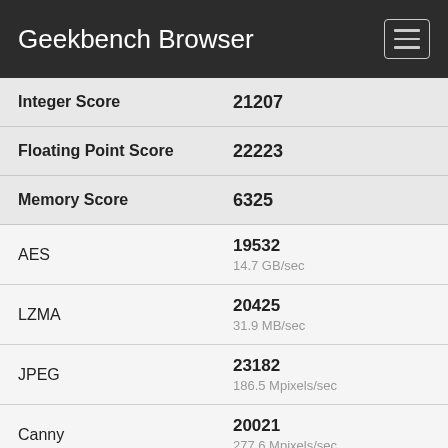Geekbench Browser
| Metric | Score |
| --- | --- |
| Integer Score | 21207 |
| Floating Point Score | 22223 |
| Memory Score | 6325 |
| AES | 19532
14.7 GB/sec |
| LZMA | 20425
31.9 MB/sec |
| JPEG | 23182
186.5 Mpixels/sec |
| Canny | 20021
277.6 Mpixels/sec |
| Lua | 18924
19.4 MB/sec |
| Dijkstra | 19707
13.3 MTE/sec |